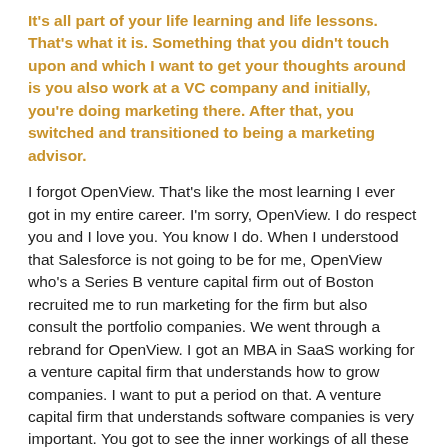It's all part of your life learning and life lessons. That's what it is. Something that you didn't touch upon and which I want to get your thoughts around is you also work at a VC company and initially, you're doing marketing there. After that, you switched and transitioned to being a marketing advisor.
I forgot OpenView. That's like the most learning I ever got in my entire career. I'm sorry, OpenView. I do respect you and I love you. You know I do. When I understood that Salesforce is not going to be for me, OpenView who's a Series B venture capital firm out of Boston recruited me to run marketing for the firm but also consult the portfolio companies. We went through a rebrand for OpenView. I got an MBA in SaaS working for a venture capital firm that understands how to grow companies. I want to put a period on that. A venture capital firm that understands software companies is very important. You got to see the inner workings of all these software companies. You got to